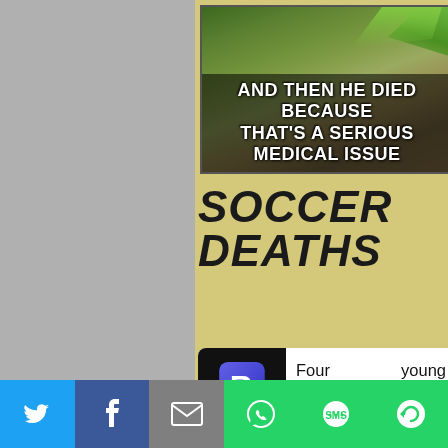[Figure (photo): Top portion showing grass/ground with meme text overlay reading AND THEN HE DIED BECAUSE THAT'S A SERIOUS MEDICAL ISSUE]
SOCCER DEATHS
Four young international soccer stars died this week after suffering a sudden heart attack.
Croatian footballer Marin Cacic, Oman international player Mukhaled Al-Raqadi,
[Figure (logo): Blue B logo (Blasting News or similar news app)]
Twitter | Facebook | Email | WhatsApp | SMS | More social sharing buttons